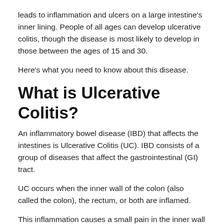leads to inflammation and ulcers on a large intestine's inner lining. People of all ages can develop ulcerative colitis, though the disease is most likely to develop in those between the ages of 15 and 30.
Here's what you need to know about this disease.
What is Ulcerative Colitis?
An inflammatory bowel disease (IBD) that affects the intestines is Ulcerative Colitis (UC). IBD consists of a group of diseases that affect the gastrointestinal (GI) tract.
UC occurs when the inner wall of the colon (also called the colon), the rectum, or both are inflamed.
This inflammation causes a small pain in the inner wall of the colon called an ulcer. Inflammations usually begins in the rectum and can also spread. It can affect some tion